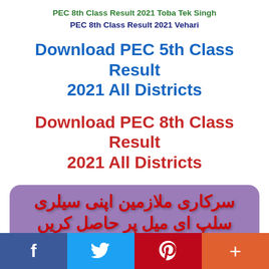PEC 8th Class Result 2021 Toba Tek Singh
PEC 8th Class Result 2021 Vehari
Download PEC 5th Class Result 2021 All Districts
Download PEC 8th Class Result 2021 All Districts
[Figure (illustration): Purple rounded banner with Urdu text in red reading about government employees salary slip by email, with www.bondresult.com watermark]
f  Twitter bird icon  P  +